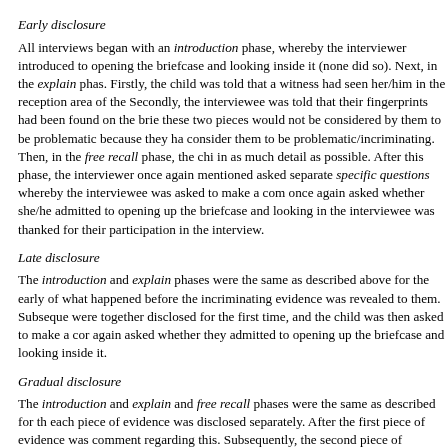Early disclosure
All interviews began with an introduction phase, whereby the interviewer introduced to opening the briefcase and looking inside it (none did so). Next, in the explain phase. Firstly, the child was told that a witness had seen her/him in the reception area of the Secondly, the interviewee was told that their fingerprints had been found on the brief these two pieces would not be considered by them to be problematic because they ha consider them to be problematic/incriminating. Then, in the free recall phase, the chi in as much detail as possible. After this phase, the interviewer once again mentioned asked separate specific questions whereby the interviewee was asked to make a comm once again asked whether she/he admitted to opening up the briefcase and looking in the interviewee was thanked for their participation in the interview.
Late disclosure
The introduction and explain phases were the same as described above for the early of what happened before the incriminating evidence was revealed to them. Subseque were together disclosed for the first time, and the child was then asked to make a cor again asked whether they admitted to opening up the briefcase and looking inside it.
Gradual disclosure
The introduction and explain and free recall phases were the same as described for th each piece of evidence was disclosed separately. After the first piece of evidence was comment regarding this. Subsequently, the second piece of evidence was revealed an interviewee was once again asked whether they admitted to opening up the briefcase closure phase.
The consistency of the interviewer was assessed by randomly dividing the interviews significant differences for statement-evidence consistency score, omission of eviden